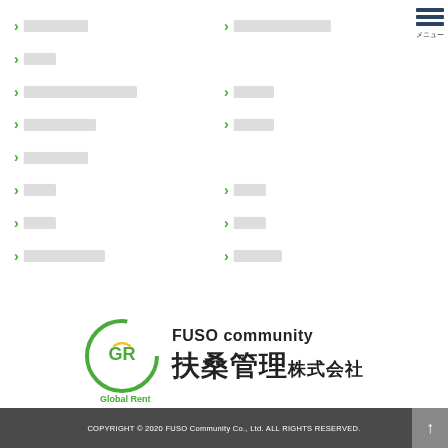▶ ████████
▶ ████████████
▶ ████
▶ ██████████████
▶ █████
▶ █████████
▶ █████
▶ ████████
▶ ████
▶ ████
▶ ████
▶ ████
▶ ██████████
▶ ██████
[Figure (logo): Global Rent / FUSO community 扶桑管理株式会社 logo with circular green icon]
COPYRIGHT © 2020 FUSO Community Co., Ltd. ALL RIGHTS RESERVED.